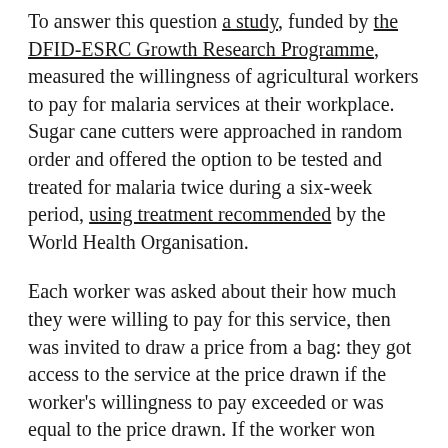To answer this question a study, funded by the DFID-ESRC Growth Research Programme, measured the willingness of agricultural workers to pay for malaria services at their workplace. Sugar cane cutters were approached in random order and offered the option to be tested and treated for malaria twice during a six-week period, using treatment recommended by the World Health Organisation.
Each worker was asked about their how much they were willing to pay for this service, then was invited to draw a price from a bag: they got access to the service at the price drawn if the worker's willingness to pay exceeded or was equal to the price drawn. If the worker won access, he then paid for the service, knowing there was no refund, even if he did not fall ill or if he chose not to use the